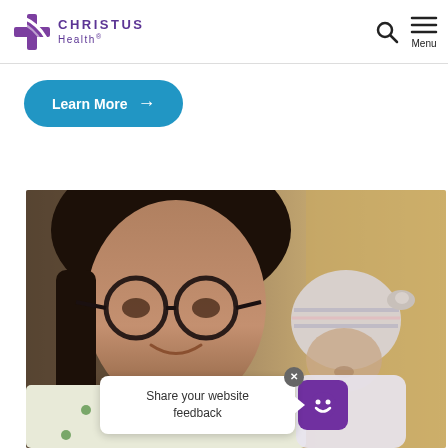CHRISTUS Health
Learn More →
[Figure (photo): A woman with glasses holding and smiling at a newborn baby swaddled in a striped hospital hat, photographed in a soft-focus hospital room setting.]
Share your website feedback